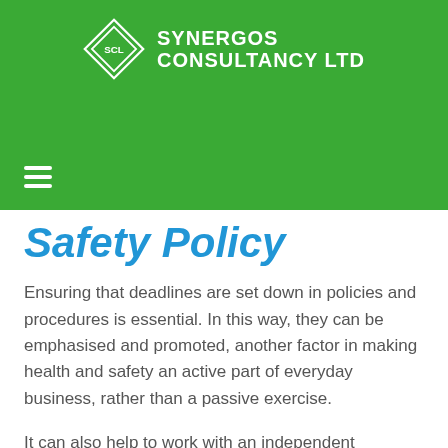[Figure (logo): Synergos Consultancy Ltd logo with diamond shape containing 'SCL' and company name in white on green background]
Safety Policy
Ensuring that deadlines are set down in policies and procedures is essential. In this way, they can be emphasised and promoted, another factor in making health and safety an active part of everyday business, rather than a passive exercise.
It can also help to work with an independent consultant. Utilising their systems and processes, you can be confident that your company will